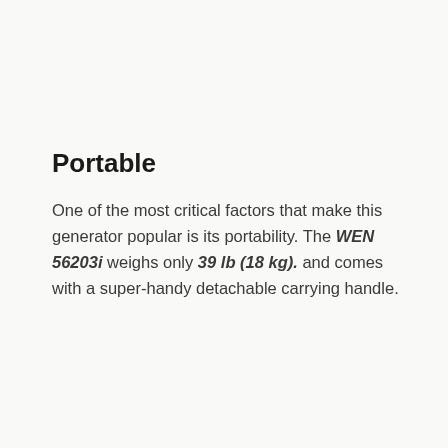Portable
One of the most critical factors that make this generator popular is its portability. The WEN 56203i weighs only 39 lb (18 kg). and comes with a super-handy detachable carrying handle.